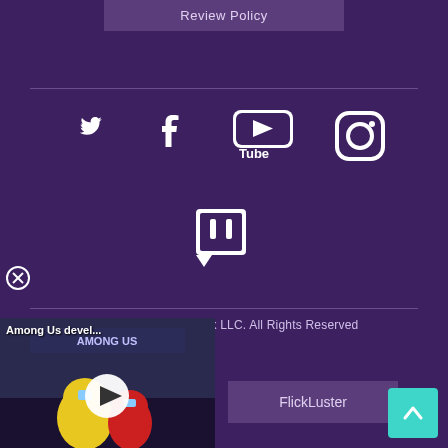Review Policy
[Figure (illustration): Social media icons row: Twitter bird, Facebook f, YouTube logo, Instagram camera]
[Figure (illustration): Twitch logo icon]
© 2022 Luster Network LLC. All Rights Reserved
[Figure (screenshot): Among Us video thumbnail with play button overlay]
Among Us devel...
FlickLuster